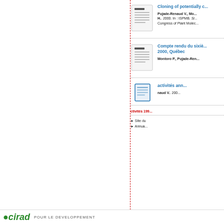Cloning of potentially c...
Pujade-Renaud V., Mo... H.. 2000. In : ISPMB. Si... Congress of Plant Molec...
Compte rendu du sixiè... 2000, Québec
Montoro P., Pujade-Ren...
activités ann...
naud V.. 200...
En cliquant sur [Accepter], vous autorisez l'utilisation des cookies qui analysent la fréquentation du site. Vous pouvez aussi refuser leur utilisation en cliquant sur [Refuser] :
En savoir plus
Refuser
Accepter
ctivités 199...
Site du
Annua...
cirad   POUR LE DEVELOPPEMENT